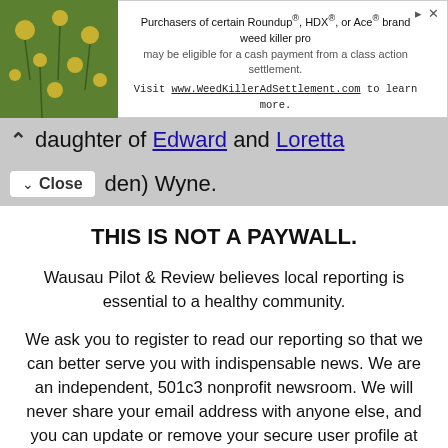[Figure (screenshot): Ad banner for WeedKillerAdSettlement.com with plant image on the left, text about Roundup, HDX, or Ace brand weed killer class action settlement on the right.]
daughter of Edward and Loretta den) Wyne.
THIS IS NOT A PAYWALL.
Wausau Pilot & Review believes local reporting is essential to a healthy community.
We ask you to register to read our reporting so that we can better serve you with indispensable news. We are an independent, 501c3 nonprofit newsroom. We will never share your email address with anyone else, and you can update or remove your secure user profile at any time.